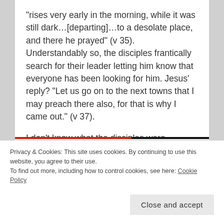“rises very early in the morning, while it was still dark…[departing]…to a desolate place, and there he prayed” (v 35). Understandably so, the disciples frantically search for their leader letting him know that everyone has been looking for him. Jesus’ reply? “Let us go on to the next towns that I may preach there also, for that is why I came out.” (v 37).
I don’t know what the disciples were thinking, but if I were them, I’m sure I would’ve been thinking something like Why on earth did Jesus take this time to pray? Doesn’t he know that we have so much work
Privacy & Cookies: This site uses cookies. By continuing to use this website, you agree to their use.
To find out more, including how to control cookies, see here: Cookie Policy
Close and accept